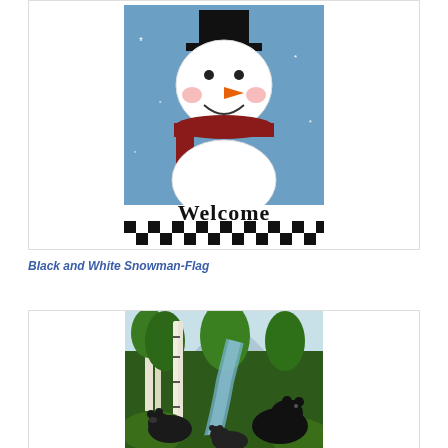[Figure (illustration): Black and white snowman with carrot nose, red scarf, black top hat against blue snowy background. Black and white checkered bottom border with 'Welcome' text.]
Black and White Snowman-Flag
[Figure (illustration): Three black bears near a forest creek with birch trees, pine trees, and mountains in the background. Realistic wildlife painting.]